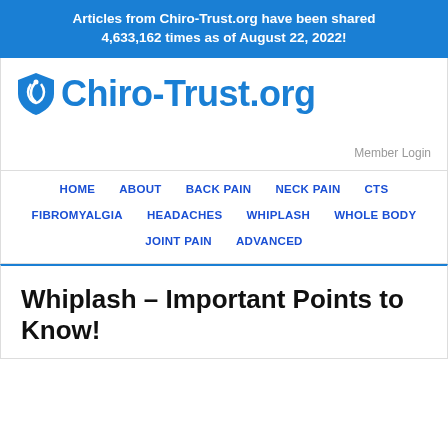Articles from Chiro-Trust.org have been shared 4,633,162 times as of August 22, 2022!
[Figure (logo): Chiro-Trust.org logo with blue shield icon and blue text]
Member Login
HOME   ABOUT   BACK PAIN   NECK PAIN   CTS   FIBROMYALGIA   HEADACHES   WHIPLASH   WHOLE BODY   JOINT PAIN   ADVANCED
Whiplash – Important Points to Know!